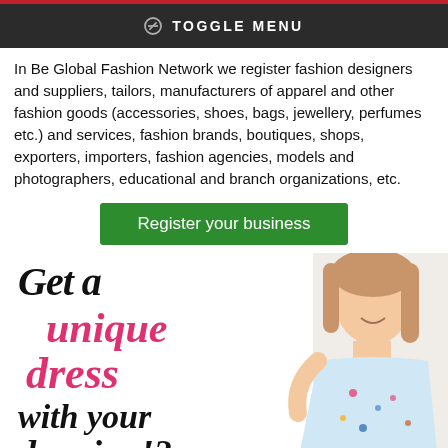TOGGLE MENU
In Be Global Fashion Network we register fashion designers and suppliers, tailors, manufacturers of apparel and other fashion goods (accessories, shoes, bags, jewellery, perfumes etc.) and services, fashion brands, boutiques, shops, exporters, importers, fashion agencies, models and photographers, educational and branch organizations, etc.
Register your business
[Figure (illustration): Promotional banner with decorative text reading 'Get a unique dress with your drawing!?' alongside a photo of a smiling young girl wearing a colorful printed dress with a Moscow/Russian landmark design.]